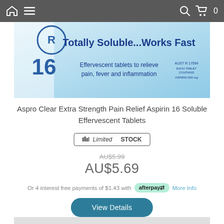Home  Menu  Search  Cart 0
[Figure (photo): Aspro Clear Extra Strength packaging showing 'Totally Soluble...Works Fast', 16 Effervescent tablets to relieve pain, fever and inflammation, AUST R 17594, Aspirin 500mg]
Aspro Clear Extra Strength Pain Relief Aspirin 16 Soluble Effervescent Tablets
Limited STOCK
AU$5.99 AU$5.69
Or 4 interest free payments of $1.43 with afterpay More Info
View Details